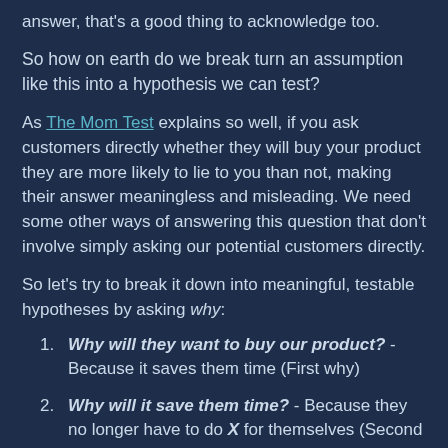answer, that's a good thing to acknowledge too.
So how on earth do we break turn an assumption like this into a hypothesis we can test?
As The Mom Test explains so well, if you ask customers directly whether they will buy your product they are more likely to lie to you than not, making their answer meaningless and misleading. We need some other ways of answering this question that don't involve simply asking our potential customers directly.
So let's try to break it down into meaningful, testable hypotheses by asking why:
Why will they want to buy our product? - Because it saves them time (First why)
Why will it save them time? - Because they no longer have to do X for themselves (Second why)